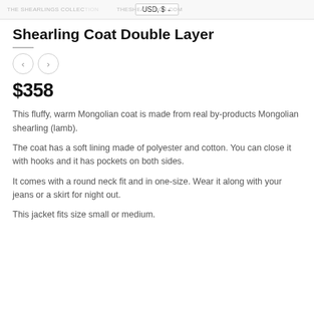THE SHEARLING COLLECTION · USD, $ · THESHEARLINGS.COM
Shearling Coat Double Layer
$358
This fluffy, warm Mongolian coat is made from real by-products Mongolian shearling (lamb).
The coat has a soft lining made of polyester and cotton. You can close it with hooks and it has pockets on both sides.
It comes with a round neck fit and in one-size. Wear it along with your jeans or a skirt for night out.
This jacket fits size small or medium.